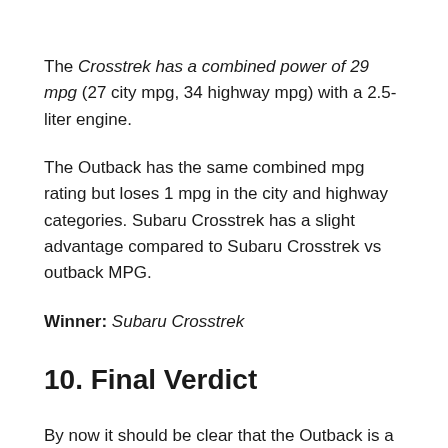The Crosstrek has a combined power of 29 mpg (27 city mpg, 34 highway mpg) with a 2.5-liter engine.
The Outback has the same combined mpg rating but loses 1 mpg in the city and highway categories. Subaru Crosstrek has a slight advantage compared to Subaru Crosstrek vs outback MPG.
Winner: Subaru Crosstrek
10. Final Verdict
By now it should be clear that the Outback is a higher quality vehicle and is the larger SUV of the two Subaru